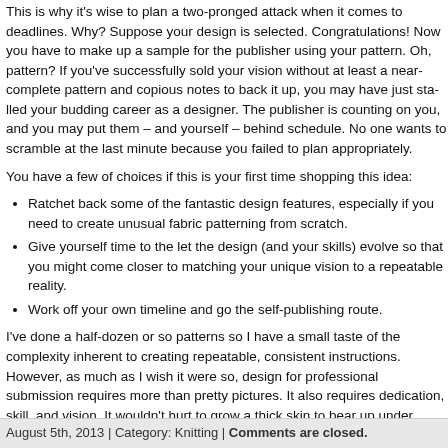This is why it's wise to plan a two-pronged attack when it comes to deadlines. Why? Suppose your design is selected. Congratulations! Now you have to make up a sample for the publisher using your pattern. Oh, but wait – what pattern? If you've successfully sold your vision without at least a near-complete pattern and copious notes to back it up, you may have just stalled your budding career as a designer. The publisher is counting on you, and you may put them – and yourself – behind schedule. No one wants to scramble at the last minute because you failed to plan appropriately.
You have a few of choices if this is your first time shopping this idea:
Ratchet back some of the fantastic design features, especially if you need to create unusual fabric patterning from scratch.
Give yourself time to the let the design (and your skills) evolve so that you might come closer to matching your unique vision to a repeatable reality.
Work off your own timeline and go the self-publishing route.
I've done a half-dozen or so patterns so I have a small taste of the complexity inherent to creating repeatable, consistent instructions. However, as much as I wish it were so, design for professional submission requires more than pretty pictures. It also requires dedication, skill, and vision. It wouldn't hurt to grow a thick skin to bear up under inevitable rejection, either. Despite all that, I knit and crochet on. Hopeful.
How do you manage to meet the demands of the design process? I may have overlooked something. I'd be grateful if you're willing to share.
August 5th, 2013 | Category: Knitting | Comments are closed.